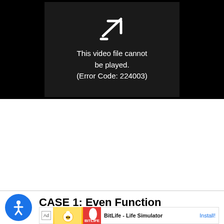[Figure (screenshot): Video player error screen showing broken video icon and error message: 'This video file cannot be played. (Error Code: 224003)' on a dark background]
CASE 1: Even Function
[Figure (screenshot): Ad banner for BitLife - Life Simulator app with Install button]